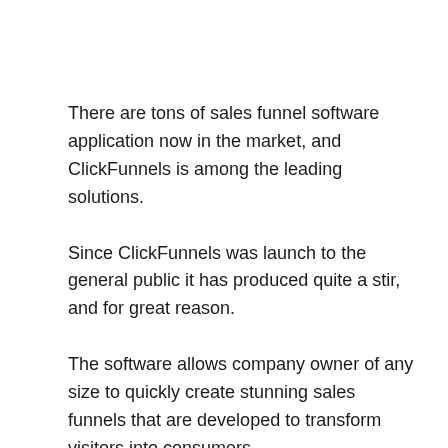There are tons of sales funnel software application now in the market, and ClickFunnels is among the leading solutions.
Since ClickFunnels was launch to the general public it has produced quite a stir, and for great reason.
The software allows company owner of any size to quickly create stunning sales funnels that are developed to transform visitors into consumers.